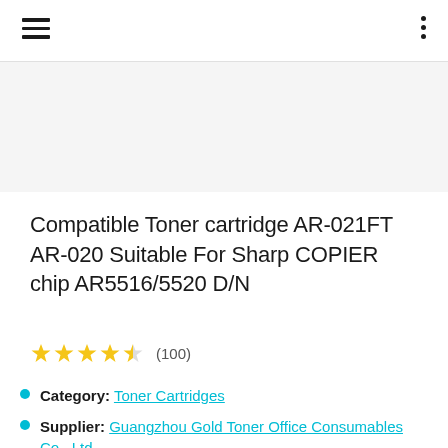Compatible Toner cartridge AR-021FT AR-020 Suitable For Sharp COPIER chip AR5516/5520 D/N
★★★★½ (100)
Category: Toner Cartridges
Supplier: Guangzhou Gold Toner Office Consumables Co., Ltd.